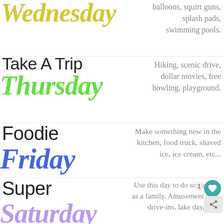Wednesday
balloons, squirt guns, splash pads, swimming pools.
Take A Trip Thursday
Hiking, scenic drive, dollar movies, free bowling, playground.
Foodie Friday
Make something new in the kitchen, food truck, shaved ice, ice cream, etc...
Super Saturday
Use this day to do something as a family. Amusement park, drive-ins, lake day, local...